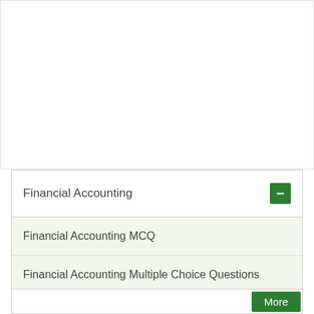Financial Accounting
Financial Accounting MCQ
Financial Accounting Multiple Choice Questions
Financial Accounting Objective Type Questions
More